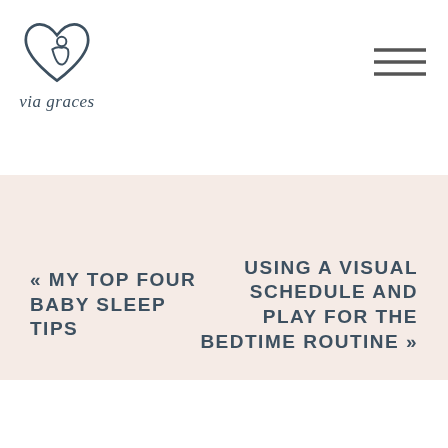[Figure (logo): Via Graces logo: heart outline with curved baby/pregnant figure inside, italic serif text 'via graces' below]
[Figure (other): Hamburger menu icon (three horizontal lines) in top right corner]
« MY TOP FOUR BABY SLEEP TIPS
USING A VISUAL SCHEDULE AND PLAY FOR THE BEDTIME ROUTINE »
ON INSTAGRAM
[Figure (photo): Photo of colorful balloons and rainbow decoration]
[Figure (photo): Photo of a toddler with a backpack]